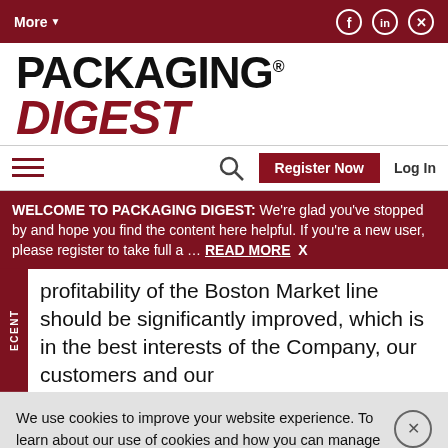More▾  [social icons: Facebook, LinkedIn, Twitter]
[Figure (logo): Packaging Digest logo: 'PACKAGING' in bold black, 'DIGEST' in bold red italic]
☰  🔍  Register Now  Log In
WELCOME TO PACKAGING DIGEST: We're glad you've stopped by and hope you find the content here helpful. If you're a new user, please register to take full a … READ MORE  X
profitability of the Boston Market line should be significantly improved, which is in the best interests of the Company, our customers and our
We use cookies to improve your website experience. To learn about our use of cookies and how you can manage your cookie settings, please see our Cookie Policy. By continuing to use the website, you consent to our use of cookies.